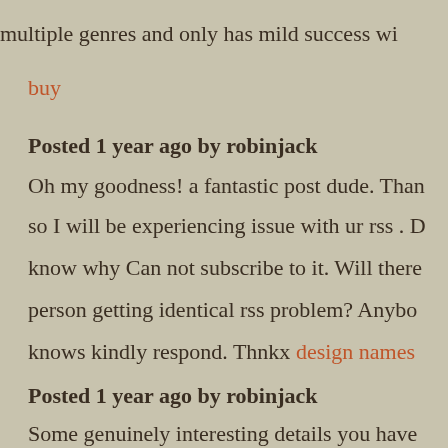multiple genres and only has mild success wi
buy
Posted 1 year ago by robinjack
Oh my goodness! a fantastic post dude. Than so I will be experiencing issue with ur rss . D know why Can not subscribe to it. Will there person getting identical rss problem? Anybo knows kindly respond. Thnkx design names
Posted 1 year ago by robinjack
Some genuinely interesting details you have Assisted me a lot, just what I was looking for
GrooveKart
Posted 1 year ago by robinjack